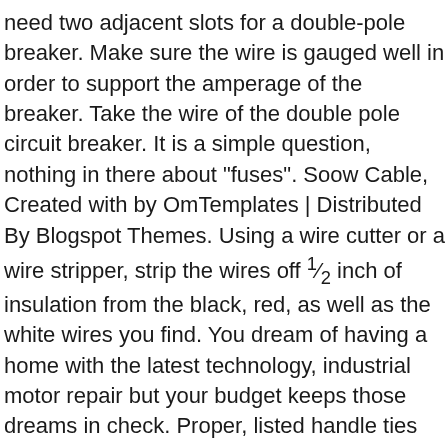need two adjacent slots for a double-pole breaker. Make sure the wire is gauged well in order to support the amperage of the breaker. Take the wire of the double pole circuit breaker. It is a simple question, nothing in there about "fuses". Soow Cable, Created with by OmTemplates | Distributed By Blogspot Themes. Using a wire cutter or a wire stripper, strip the wires off ½ inch of insulation from the black, red, as well as the white wires you find. You dream of having a home with the latest technology, industrial motor repair but your budget keeps those dreams in check. Proper, listed handle ties can be hard to find, especially on a Sunday. Attach the white wire to the neutral bar of the breaker panel. Test the double pole breaker using your multimeter. Insert the circuit breaker in the breaker panel and push the front of it onto the bus bar. Tighten the screws so that the wires are securely in place. The double pole circuit breaker can now be wired. This video will show a DIY kind of person how to wire and install a single pole circuit breaker. Push it securely in place until you hear it snap, indicating that it is